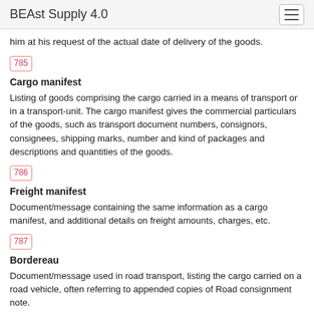BEAst Supply 4.0
him at his request of the actual date of delivery of the goods.
785
Cargo manifest
Listing of goods comprising the cargo carried in a means of transport or in a transport-unit. The cargo manifest gives the commercial particulars of the goods, such as transport document numbers, consignors, consignees, shipping marks, number and kind of packages and descriptions and quantities of the goods.
786
Freight manifest
Document/message containing the same information as a cargo manifest, and additional details on freight amounts, charges, etc.
787
Bordereau
Document/message used in road transport, listing the cargo carried on a road vehicle, often referring to appended copies of Road consignment note.
788